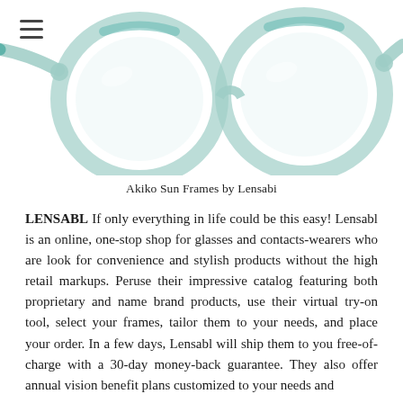[Figure (photo): Close-up photo of clear/teal round eyeglass frames (Akiko Sun Frames by Lensabi) against a white background, with a hamburger menu icon in the top left corner.]
Akiko Sun Frames by Lensabi
LENSABL If only everything in life could be this easy! Lensabl is an online, one-stop shop for glasses and contacts-wearers who are look for convenience and stylish products without the high retail markups. Peruse their impressive catalog featuring both proprietary and name brand products, use their virtual try-on tool, select your frames, tailor them to your needs, and place your order. In a few days, Lensabl will ship them to you free-of-charge with a 30-day money-back guarantee. They also offer annual vision benefit plans customized to your needs and